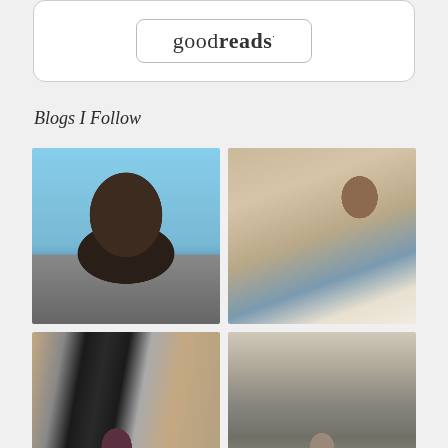[Figure (logo): Goodreads logo inside a rounded rectangle box]
Blogs I Follow
[Figure (photo): Photo of a man with sunglasses and beard against a blue sky]
[Figure (illustration): Illustration of a woman in a cafe reading books]
[Figure (photo): Photo of a woman with sunglasses behind decorative iron gate]
[Figure (photo): Photo of a person standing in a stone archway]